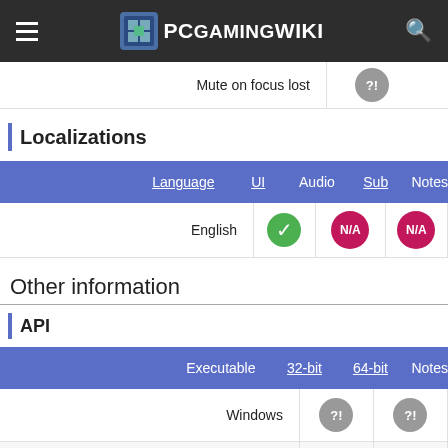PCGamingWiki
|  | Mute on focus lost |
| --- | --- |
|  | unknown |
Localizations
| Language | UI | Audio | Sub | Notes |
| --- | --- | --- | --- | --- |
| English | check | N/A | N/A |  |
Other information
API
| Executable | 32-bit | 64-bit | Notes |
| --- | --- | --- | --- |
| Windows | unknown | unknown |  |
| macOS (OS X) | unknown | unknown |  |